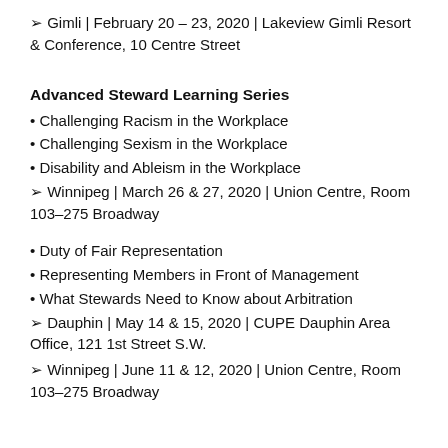➢ Gimli | February 20 – 23, 2020 | Lakeview Gimli Resort & Conference, 10 Centre Street
Advanced Steward Learning Series
• Challenging Racism in the Workplace
• Challenging Sexism in the Workplace
• Disability and Ableism in the Workplace
➢ Winnipeg | March 26 & 27, 2020 | Union Centre, Room 103–275 Broadway
• Duty of Fair Representation
• Representing Members in Front of Management
• What Stewards Need to Know about Arbitration
➢ Dauphin | May 14 & 15, 2020 | CUPE Dauphin Area Office, 121 1st Street S.W.
➢ Winnipeg | June 11 & 12, 2020 | Union Centre, Room 103–275 Broadway